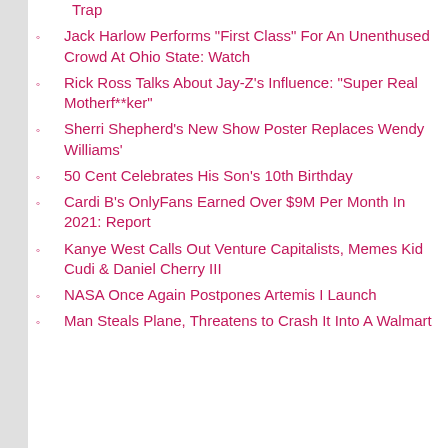Trap
Jack Harlow Performs "First Class" For An Unenthused Crowd At Ohio State: Watch
Rick Ross Talks About Jay-Z's Influence: "Super Real Motherf**ker"
Sherri Shepherd's New Show Poster Replaces Wendy Williams'
50 Cent Celebrates His Son's 10th Birthday
Cardi B's OnlyFans Earned Over $9M Per Month In 2021: Report
Kanye West Calls Out Venture Capitalists, Memes Kid Cudi & Daniel Cherry III
NASA Once Again Postpones Artemis I Launch
Man Steals Plane, Threatens to Crash It Into A Walmart